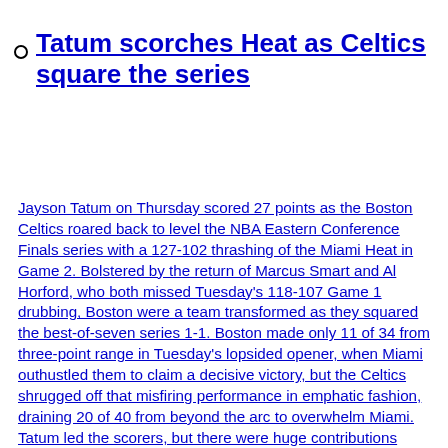Tatum scorches Heat as Celtics square the series
Jayson Tatum on Thursday scored 27 points as the Boston Celtics roared back to level the NBA Eastern Conference Finals series with a 127-102 thrashing of the Miami Heat in Game 2. Bolstered by the return of Marcus Smart and Al Horford, who both missed Tuesday's 118-107 Game 1 drubbing, Boston were a team transformed as they squared the best-of-seven series 1-1. Boston made only 11 of 34 from three-point range in Tuesday's lopsided opener, when Miami outhustled them to claim a decisive victory, but the Celtics shrugged off that misfiring performance in emphatic fashion, draining 20 of 40 from beyond the arc to overwhelm Miami. Tatum led the scorers, but there were huge contributions throughout the Celtics lineup. Smart finished with 24 points, 12 assists and nine rebounds, while Jaylen Brown also posted 24 points, including 12 from three-point range. Grant Williams added 19 from the bench, while Horford and Payton Pritchard had 10 points each. Jimmy Butler led the Miami scoring with 29 points, but only three other